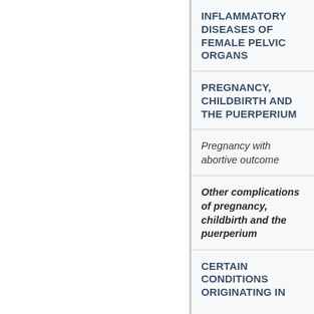INFLAMMATORY DISEASES OF FEMALE PELVIC ORGANS
PREGNANCY, CHILDBIRTH AND THE PUERPERIUM
Pregnancy with abortive outcome
Other complications of pregnancy, childbirth and the puerperium
CERTAIN CONDITIONS ORIGINATING IN